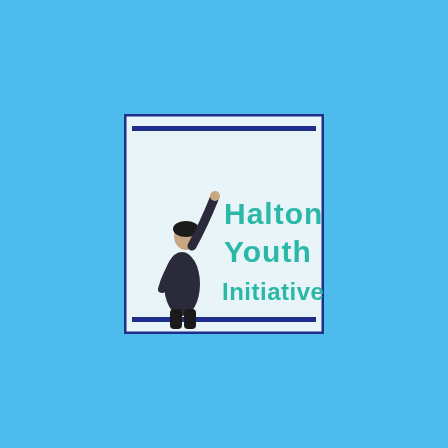[Figure (logo): Halton Youth Initiative logo: a square white/light-blue box with dark blue double border bars at top and bottom. Inside, a figure of a person in dark clothing reaching up with one arm pointing upward (left side), and teal/turquoise bold text on the right reading 'Halton Youth Initiative' in three lines.]